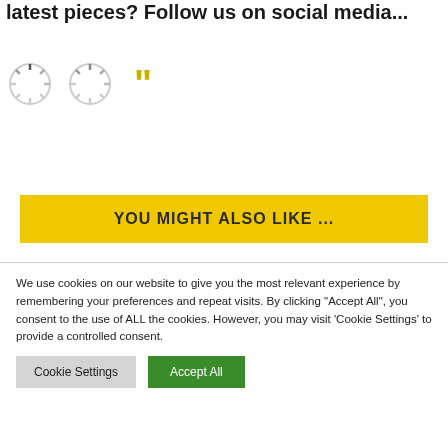latest pieces? Follow us on social media...
[Figure (illustration): Two loading spinner icons and a yellow double-quotation mark]
YOU MIGHT ALSO LIKE ...
We use cookies on our website to give you the most relevant experience by remembering your preferences and repeat visits. By clicking "Accept All", you consent to the use of ALL the cookies. However, you may visit 'Cookie Settings' to provide a controlled consent.